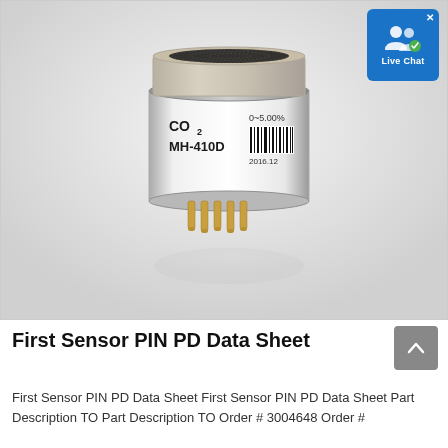[Figure (photo): Product photo of a CO2 sensor MH-410D by First Sensor. The sensor is a cylindrical component with a metal cap on top, a white body labeled 'CO2 MH-410D 0~5.00%' with a barcode and date '2016.12', and gold-colored pins at the bottom. Reflected on a white glossy surface.]
First Sensor PIN PD Data Sheet
First Sensor PIN PD Data Sheet First Sensor PIN PD Data Sheet Part Description TO Part Description TO Order # 3004648 Order #